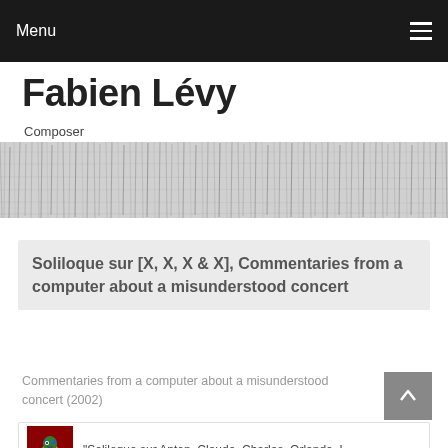Menu
Fabien Lévy
Composer
[Figure (illustration): Abstract black and white textured banner image resembling musical score or bark texture]
Soliloque sur [X, X, X & X], Commentaries from a computer about a misunderstood concert
Commentaries from a computer about a misunderstood concert (2002)
"Soliloque sur Anton, Claude, Charles, Orlando, L…"